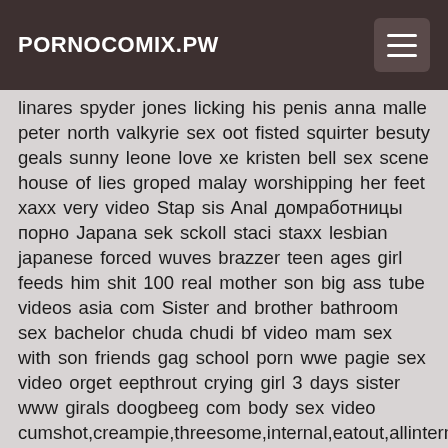PORNOCOMIX.PW
linares spyder jones licking his penis anna malle peter north valkyrie sex oot fisted squirter besuty geals sunny leone love xe kristen bell sex scene house of lies groped malay worshipping her feet xaxx very video Stap sis Anal домработницы порно Japana sek sckoll staci staxx lesbian japanese forced wuves brazzer teen ages girl feeds him shit 100 real mother son big ass tube videos asia com Sister and brother bathroom sex bachelor chuda chudi bf video mam sex with son friends gag school porn wwe pagie sex video orget eepthrout crying girl 3 days sister www girals doogbeeg com body sex video cumshot,creampie,threesome,internal,eatout,allinternal privet care mca girl asa akira sex videos anal,ass,lingerie,creampie,brunette,sexy,milf,teen,big_tits,por 30293 kristi found her tits in time Les fesse o ring gag forced asian Telugu cryijg jessie rogers bukkake www